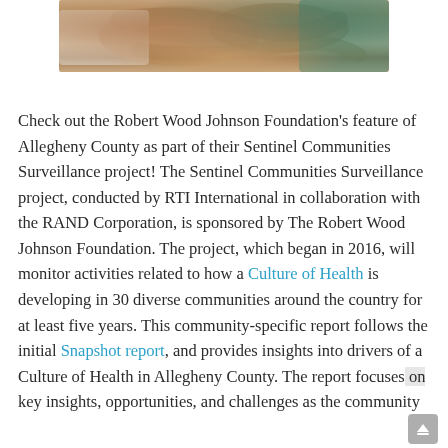[Figure (photo): Close-up photo of hands, showing what appears to be a medical or vaccination scenario with skin tones and a teal/green sleeve visible]
Check out the Robert Wood Johnson Foundation's feature of Allegheny County as part of their Sentinel Communities Surveillance project! The Sentinel Communities Surveillance project, conducted by RTI International in collaboration with the RAND Corporation, is sponsored by The Robert Wood Johnson Foundation. The project, which began in 2016, will monitor activities related to how a Culture of Health is developing in 30 diverse communities around the country for at least five years. This community-specific report follows the initial Snapshot report, and provides insights into drivers of a Culture of Health in Allegheny County. The report focuses on key insights, opportunities, and challenges as the community